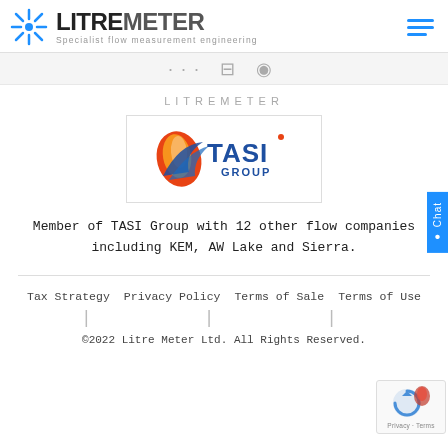LITRE METER — Specialist flow measurement engineering
[Figure (logo): TASI Group logo with flame/swoosh graphic and blue TASI text with GROUP below]
LITREMETER
Member of TASI Group with 12 other flow companies including KEM, AW Lake and Sierra.
Tax Strategy   Privacy Policy   Terms of Sale   Terms of Use
©2022 Litre Meter Ltd. All Rights Reserved.